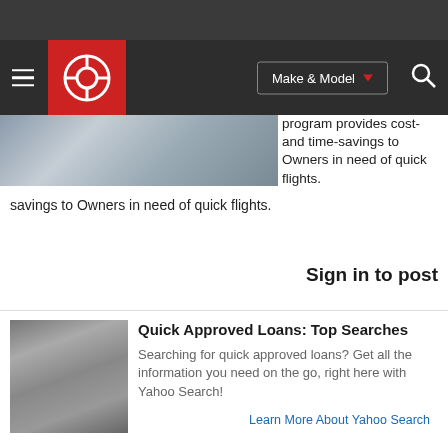Make & Model navigation header with hamburger menu, logo, Make & Model dropdown, and search icon
[Figure (photo): Overhead interior view of aircraft cabin]
program provides cost- and time-savings to Owners in need of quick flights.
Learn more about NetJets
Sign in to post
[Figure (photo): US dollar bills money photo]
Quick Approved Loans: Top Searches
Searching for quick approved loans? Get all the information you need on the go, right here with Yahoo Search!
Learn More About Yahoo Search